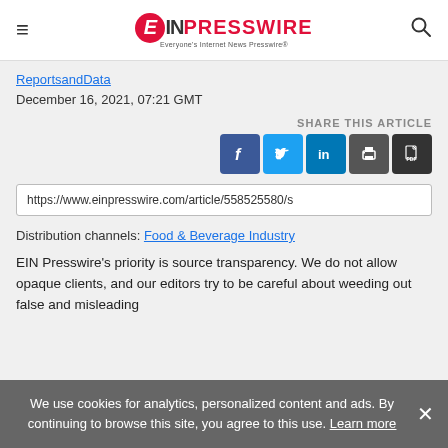EIN Presswire — Everyone's Internet News Presswire
ReportsandData
December 16, 2021, 07:21 GMT
SHARE THIS ARTICLE
https://www.einpresswire.com/article/558525580/s
Distribution channels: Food & Beverage Industry
EIN Presswire's priority is source transparency. We do not allow opaque clients, and our editors try to be careful about weeding out false and misleading
We use cookies for analytics, personalized content and ads. By continuing to browse this site, you agree to this use. Learn more